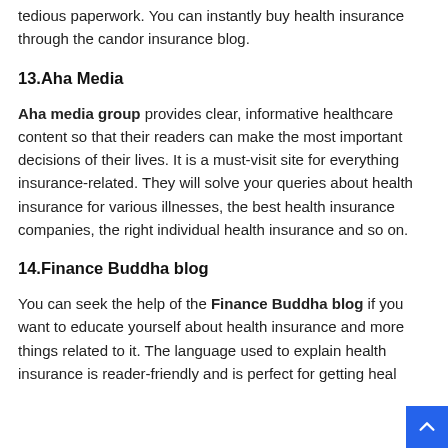tedious paperwork. You can instantly buy health insurance through the candor insurance blog.
13.Aha Media
Aha media group provides clear, informative healthcare content so that their readers can make the most important decisions of their lives. It is a must-visit site for everything insurance-related. They will solve your queries about health insurance for various illnesses, the best health insurance companies, the right individual health insurance and so on.
14.Finance Buddha blog
You can seek the help of the Finance Buddha blog if you want to educate yourself about health insurance and more things related to it. The language used to explain health insurance is reader-friendly and is perfect for getting heal